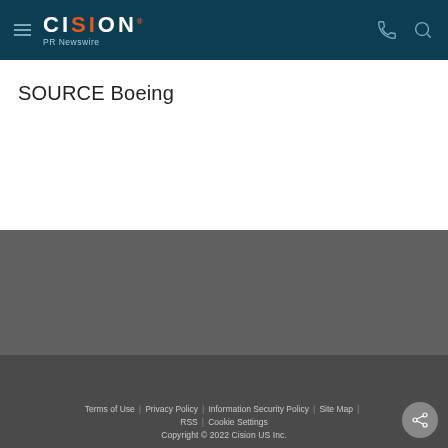CISION PR Newswire
SOURCE Boeing
Contact Cision
Products
About
My Services
Cision Distribution Helpline
888-776-0942
Terms of Use | Privacy Policy | Information Security Policy | Site Map | RSS | Cookie Settings
Copyright © 2022 Cision US Inc.